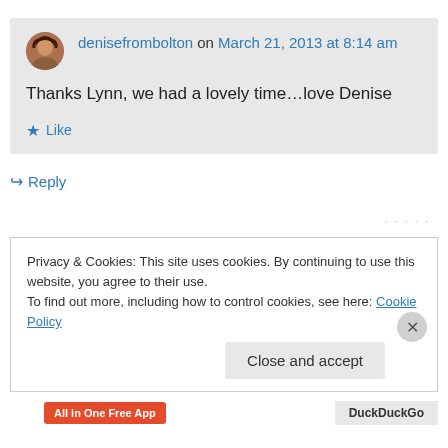denisefrombolton on March 21, 2013 at 8:14 am
Thanks Lynn, we had a lovely time…love Denise
Like
Reply
Privacy & Cookies: This site uses cookies. By continuing to use this website, you agree to their use.
To find out more, including how to control cookies, see here: Cookie Policy
Close and accept